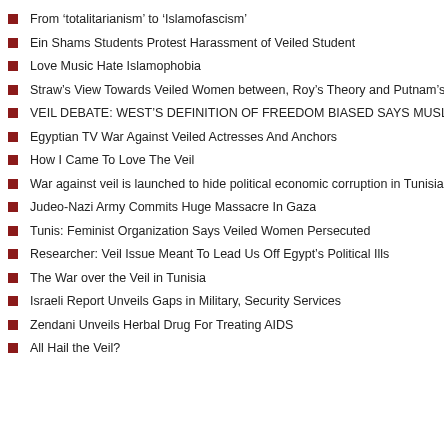From ‘totalitarianism’ to ‘Islamofascism’
Ein Shams Students Protest Harassment of Veiled Student
Love Music Hate Islamophobia
Straw’s View Towards Veiled Women between, Roy’s Theory and Putnam’s Prophecy
VEIL DEBATE: WEST’S DEFINITION OF FREEDOM BIASED SAYS MUSLIM BROTHERHOOD
Egyptian TV War Against Veiled Actresses And Anchors
How I Came To Love The Veil
War against veil is launched to hide political economic corruption in Tunisia
Judeo-Nazi Army Commits Huge Massacre In Gaza
Tunis: Feminist Organization Says Veiled Women Persecuted
Researcher: Veil Issue Meant To Lead Us Off Egypt’s Political Ills
The War over the Veil in Tunisia
Israeli Report Unveils Gaps in Military, Security Services
Zendani Unveils Herbal Drug For Treating AIDS
All Hail the Veil?